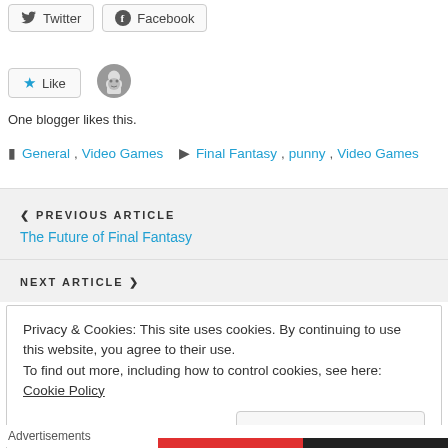[Figure (other): Twitter and Facebook share buttons]
[Figure (other): Like button with blogger avatar and 'One blogger likes this.' text]
One blogger likes this.
General, Video Games   Final Fantasy, punny, Video Games
< PREVIOUS ARTICLE
The Future of Final Fantasy
NEXT ARTICLE >
Privacy & Cookies: This site uses cookies. By continuing to use this website, you agree to their use.
To find out more, including how to control cookies, see here: Cookie Policy
Close and accept
Advertisements